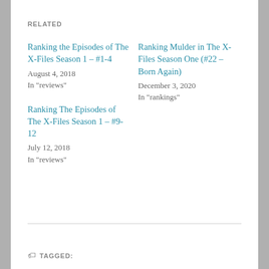RELATED
Ranking the Episodes of The X-Files Season 1 – #1-4
August 4, 2018
In "reviews"
Ranking Mulder in The X-Files Season One (#22 – Born Again)
December 3, 2020
In "rankings"
Ranking The Episodes of The X-Files Season 1 – #9-12
July 12, 2018
In "reviews"
TAGGED: